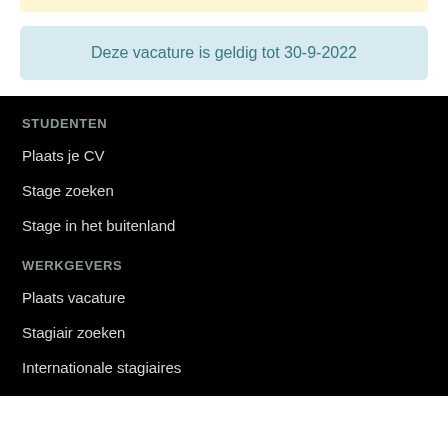Deze vacature is geldig tot 30-9-2022
STUDENTEN
Plaats je CV
Stage zoeken
Stage in het buitenland
WERKGEVERS
Plaats vacature
Stagiair zoeken
Internationale stagiaires